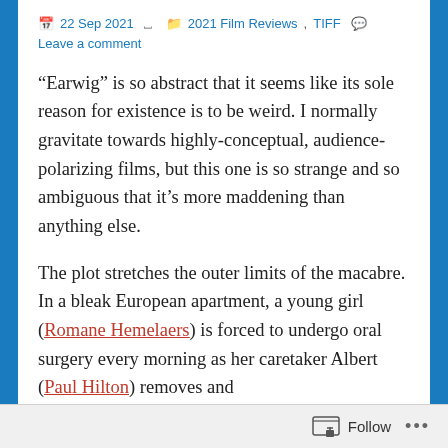22 Sep 2021  |  2021 Film Reviews, TIFF  |  Leave a comment
“Earwig” is so abstract that it seems like its sole reason for existence is to be weird. I normally gravitate towards highly-conceptual, audience-polarizing films, but this one is so strange and so ambiguous that it’s more maddening than anything else.
The plot stretches the outer limits of the macabre. In a bleak European apartment, a young girl (Romane Hemelaers) is forced to undergo oral surgery every morning as her caretaker Albert (Paul Hilton) removes and
Follow  ...